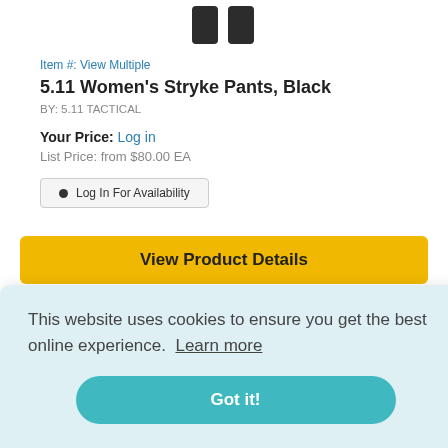[Figure (photo): Partial view of two dark boot/shoe shapes at the top of the page, cropped product image]
Item #: View Multiple
5.11 Women's Stryke Pants, Black
BY: 5.11 TACTICAL
Your Price: Log in
List Price: from $80.00 EA
Log In For Availability
View Product Details
This website uses cookies to ensure you get the best online experience. Learn more
Got it!